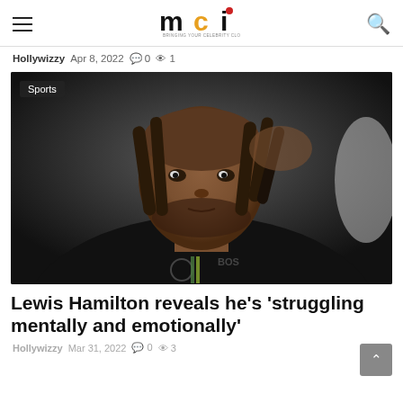mci — Bringing your celebrity closer to you
Hollywizzy  Apr 8, 2022  0  1
[Figure (photo): Lewis Hamilton in black Mercedes racing gear, looking pensive, hand raised near head with dreadlocks. Sports tag overlay top-left.]
Lewis Hamilton reveals he's 'struggling mentally and emotionally'
Hollywizzy  Mar 31, 2022  0  3